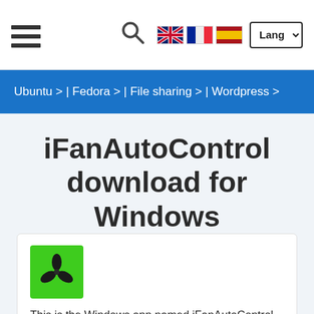Navigation bar with hamburger menu, search icon, language flags (UK, France, Spain), and Lang dropdown
Ubuntu > | Fedora > | File sharing > | Wordpress >
iFanAutoControl download for Windows
[Figure (logo): iFanAutoControl app icon: green square background with a black fan/propeller symbol]
This is the Windows app named iFanAutoControl whose latest release can be downloaded as